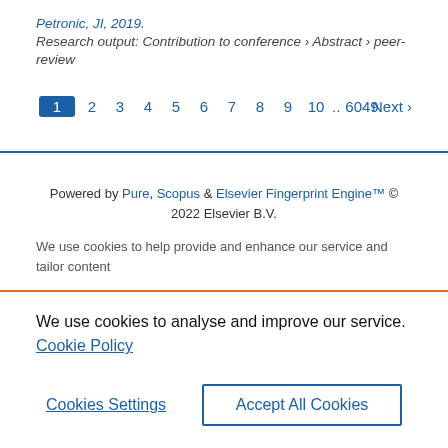Petronic, JI, 2019.
Research output: Contribution to conference › Abstract › peer-review
1 2 3 4 5 6 7 8 9 10 .. 6049   Next ›
Powered by Pure, Scopus & Elsevier Fingerprint Engine™ © 2022 Elsevier B.V.
We use cookies to help provide and enhance our service and tailor content
We use cookies to analyse and improve our service. Cookie Policy
Cookies Settings    Accept All Cookies